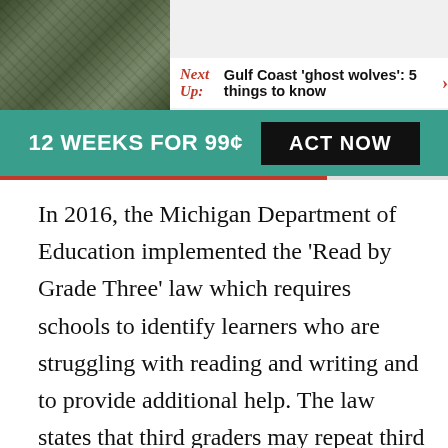[Figure (photo): Nature/wilderness background image on the left side of the header area, showing dense foliage or rocky terrain]
Next Up: Gulf Coast 'ghost wolves': 5 things to know
12 WEEKS FOR 99¢  ACT NOW
In 2016, the Michigan Department of Education implemented the 'Read by Grade Three' law which requires schools to identify learners who are struggling with reading and writing and to provide additional help. The law states that third graders may repeat third grade if they are more than one grade level behind, beginning with the 2019-20 school year.